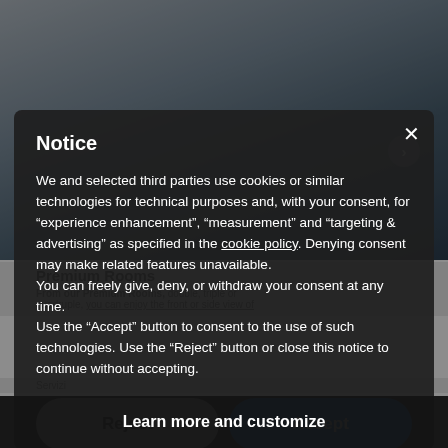[Figure (screenshot): Hotel room photo shown as background image behind the cookie notice modal overlay]
Premium Rooms
From our Premium Rooms, double, triple or quadruple, you can enjoy the front or side view of
Notice
We and selected third parties use cookies or similar technologies for technical purposes and, with your consent, for “experience enhancement”, “measurement” and “targeting & advertising” as specified in the cookie policy. Denying consent may make related features unavailable.
You can freely give, deny, or withdraw your consent at any time.
Use the “Accept” button to consent to the use of such technologies. Use the “Reject” button or close this notice to continue without accepting.
Reject
Accept
Learn more and customize